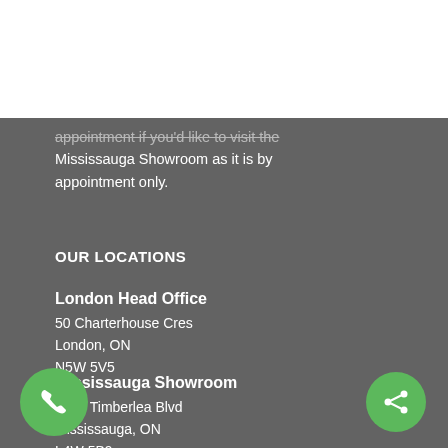[Figure (logo): GreenMetal Roofing and Manufacturing Inc. logo — green house/roof icon with GREENMETAL text in green and grey, subtitle in grey]
appointment if you'd like to visit the Mississauga Showroom as it is by appointment only.
OUR LOCATIONS
London Head Office
50 Charterhouse Cres
London, ON
N5W 5V5
Mississauga Showroom
5750 Timberlea Blvd
Mississauga, ON
L4W 5B9